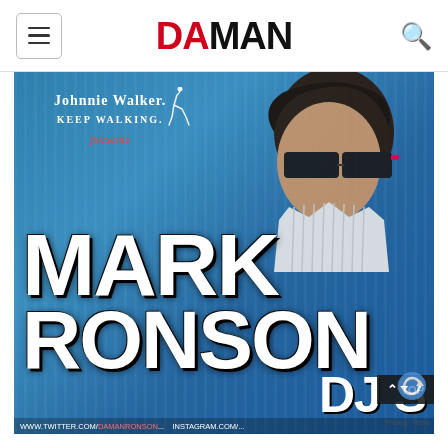DA MAN
[Figure (photo): Promotional event poster for Mark Ronson DJ Set presented by Johnnie Walker Keep Walking. Shows a young man with dark hair wearing sunglasses and a striped white shirt against a blue striped background. Large white bold text reads MARK RONSON DJ S... at the bottom.]
WWW.TWITTER.COM/...